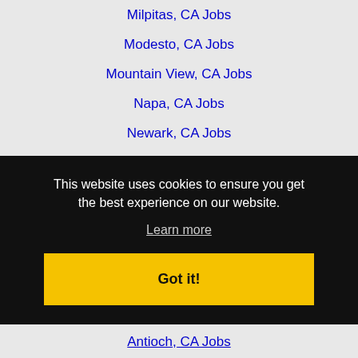Milpitas, CA Jobs
Modesto, CA Jobs
Mountain View, CA Jobs
Napa, CA Jobs
Newark, CA Jobs
North Highlands, CA Jobs
Novato, CA Jobs
Oakland, CA Jobs
Palo Alto, CA Jobs
Parkway-South Sacramento, CA Jobs
This website uses cookies to ensure you get the best experience on our website.
Learn more
Got it!
Antioch, CA Jobs